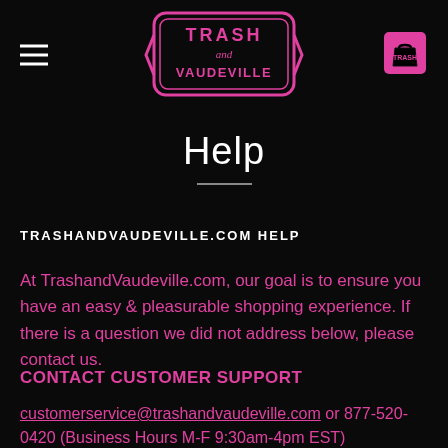[Figure (logo): Trash and Vaudeville logo in pink/magenta on black background, ornate badge style with the text TRASH and VAUDEVILLE]
Help
TRASHANDVAUDEVILLE.COM HELP
At TrashandVaudeville.com, our goal is to ensure you have an easy & pleasurable shopping experience. If there is a question we did not address below, please contact us.
CONTACT CUSTOMER SUPPORT
customerservice@trashandvaudeville.com or 877-520-0420 (Business Hours M-F 9:30am-4pm EST)